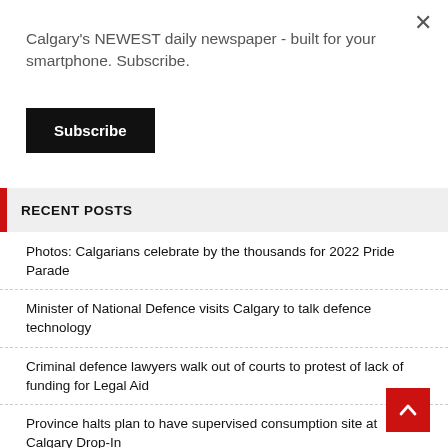Calgary's NEWEST daily newspaper - built for your smartphone. Subscribe.
Subscribe
RECENT POSTS
Photos: Calgarians celebrate by the thousands for 2022 Pride Parade
Minister of National Defence visits Calgary to talk defence technology
Criminal defence lawyers walk out of courts to protest of lack of funding for Legal Aid
Province halts plan to have supervised consumption site at Calgary Drop-In
Local group raising cash by prepping cyclists to hit the road